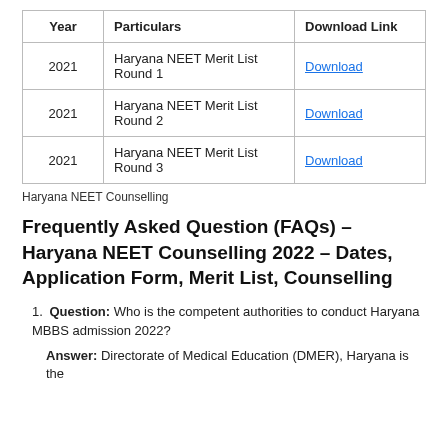| Year | Particulars | Download Link |
| --- | --- | --- |
| 2021 | Haryana NEET Merit List Round 1 | Download |
| 2021 | Haryana NEET Merit List Round 2 | Download |
| 2021 | Haryana NEET Merit List Round 3 | Download |
Haryana NEET Counselling
Frequently Asked Question (FAQs) – Haryana NEET Counselling 2022 – Dates, Application Form, Merit List, Counselling
Question: Who is the competent authorities to conduct Haryana MBBS admission 2022?
Answer: Directorate of Medical Education (DMER), Haryana is the